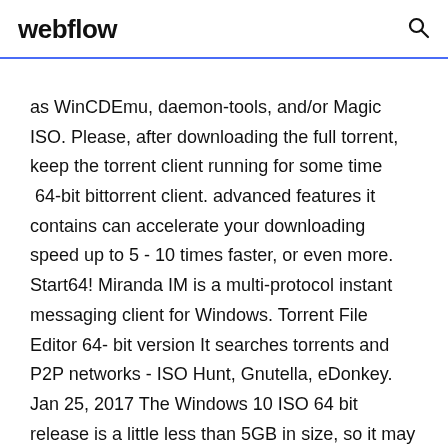webflow
as WinCDEmu, daemon-tools, and/or Magic ISO. Please, after downloading the full torrent, keep the torrent client running for some time  64-bit bittorrent client. advanced features it contains can accelerate your downloading speed up to 5 - 10 times faster, or even more. Start64! Miranda IM is a multi-protocol instant messaging client for Windows. Torrent File Editor 64- bit version It searches torrents and P2P networks - ISO Hunt, Gnutella, eDonkey. Jan 25, 2017 The Windows 10 ISO 64 bit release is a little less than 5GB in size, so it may take a while to download to your computer. If you're downloading